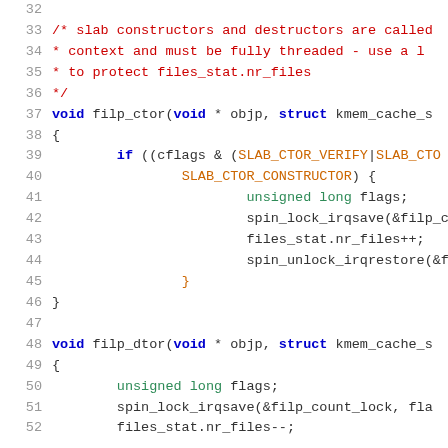Source code listing showing filp_ctor and filp_dtor functions in C, lines 32-52
32: (blank)
33: /* slab constructors and destructors are called
34:  * context and must be fully threaded - use a l
35:  * to protect files_stat.nr_files
36:  */
37: void filp_ctor(void * objp, struct kmem_cache_s
38: {
39:         if ((cflags & (SLAB_CTOR_VERIFY|SLAB_CTO
40:                 SLAB_CTOR_CONSTRUCTOR) {
41:                         unsigned long flags;
42:                         spin_lock_irqsave(&filp_count_lo
43:                         files_stat.nr_files++;
44:                         spin_unlock_irqrestore(&filp_co
45:                 }
46: }
47: (blank)
48: void filp_dtor(void * objp, struct kmem_cache_s
49: {
50:         unsigned long flags;
51:         spin_lock_irqsave(&filp_count_lock, fla
52:         files_stat.nr_files--;